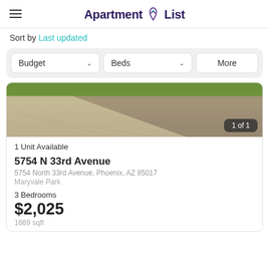Apartment List
Sort by Last updated
Budget  Beds  More
[Figure (photo): Outdoor photo showing a sidewalk/driveway with grass in background, labeled '1 of 1']
1 Unit Available
5754 N 33rd Avenue
5754 North 33rd Avenue, Phoenix, AZ 85017
Maryvale Park
3 Bedrooms
$2,025
1669 sqft